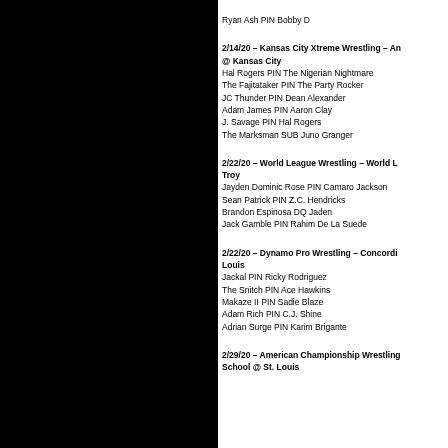Ryan Ash PIN Bobby D
2/14/20 – Kansas City Xtreme Wrestling – An @ Kansas City
Hal Rogers PIN The Nigerian Nightmare
The Fajitataker PIN The Party Rocker
JC Thunder PIN Dean Alexander
Adam James PIN Aaron Clay
J. Savage PIN Hal Rogers
The Marksman SUB Juno Granger
2/22/20 – World League Wrestling – World L Troy
Jayden Dominic Rose PIN Camaro Jackson
Sean Patrick PIN Z.C. Hendricks
Brandon Espinosa DQ Jaden
Jack Gamble PIN Rahim De La Suede
2/22/20 – Dynamo Pro Wrestling – Concordi Louis
Jackal PIN Ricky Rodriguez
The Snitch PIN Ace Hawkins
Makaze II PIN Sadie Blaze
Adam Rich PIN C.J. Shine
Adrian Surge PIN Karim Brigante
2/29/20 – American Championship Wrestling School @ St. Louis